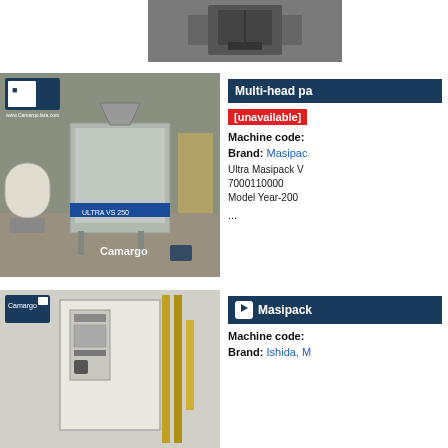[Figure (photo): Top portion of machinery equipment photo, partially visible]
[Figure (photo): Multi-head packing machine (Ultra Masipack VS 250) in industrial warehouse, Camargo logo watermark]
Multi-head pa
[unavailable]
Machine code:
Brand: Masipac
Ultra Masipack V 7000110000 Model Year-200 ...
[Figure (photo): Masipack machine control panel/cabinet photo with Camargo logo watermark]
Masipack
Machine code:
Brand: Ishida, M